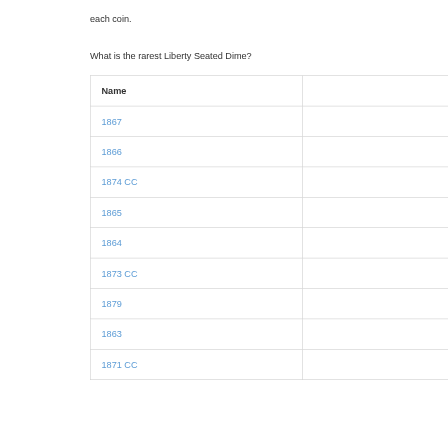each coin.
What is the rarest Liberty Seated Dime?
| Name | Produced |
| --- | --- |
| 1867 | 6,000 |
| 1866 | 8,000 |
| 1874 CC | 10,000 |
| 1865 | 10,000 |
| 1864 | 11,000 |
| 1873 CC | 12,000 |
| 1879 | 14,000 |
| 1863 | 14,000 |
| 1871 CC | 20,000 |